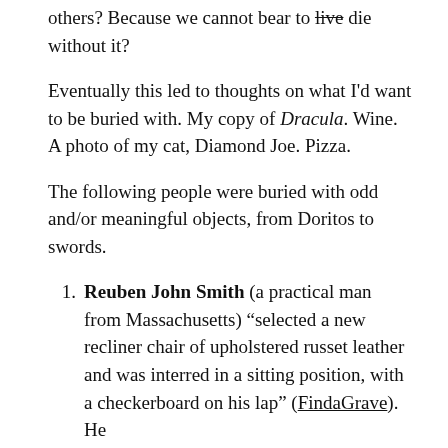others? Because we cannot bear to live die without it?
Eventually this led to thoughts on what I'd want to be buried with. My copy of Dracula. Wine. A photo of my cat, Diamond Joe. Pizza.
The following people were buried with odd and/or meaningful objects, from Doritos to swords.
Reuben John Smith (a practical man from Massachusetts) “selected a new recliner chair of upholstered russet leather and was interred in a sitting position, with a checkerboard on his lap” (FindaGrave). He